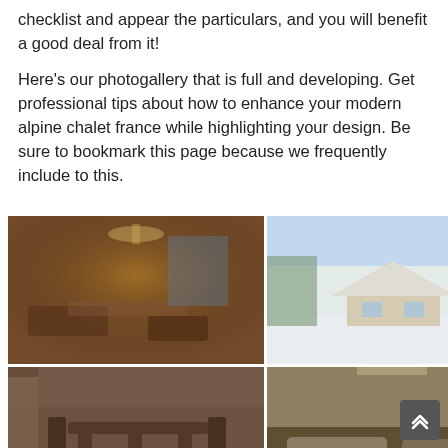checklist and appear the particulars, and you will benefit a good deal from it!
Here's our photogallery that is full and developing. Get professional tips about how to enhance your modern alpine chalet france while highlighting your design. Be sure to bookmark this page because we frequently include to this.
[Figure (photo): Photo gallery grid of 7 alpine chalet france images showing interiors and exteriors of luxury chalets in snowy mountain settings, plus one modern glass pavilion with pool.]